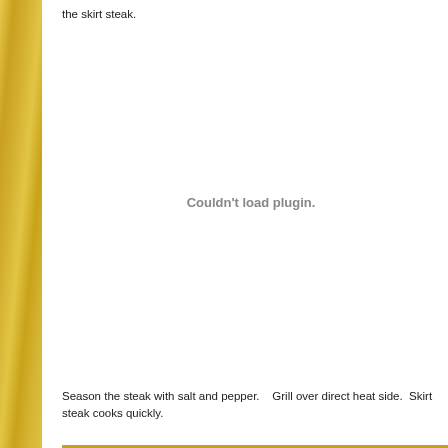the skirt steak.
[Figure (other): Couldn't load plugin. placeholder area for an embedded video or media plugin.]
Season the steak with salt and pepper.   Grill over direct heat side.  Skirt steak cooks quickly.